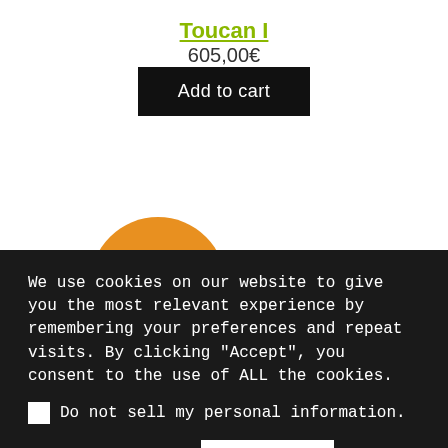Toucan I
605,00€
Add to cart
[Figure (illustration): Orange circle shape, partially cropped at bottom of white section]
We use cookies on our website to give you the most relevant experience by remembering your preferences and repeat visits. By clicking "Accept", you consent to the use of ALL the cookies.
Do not sell my personal information.
Cookie settings
Accept